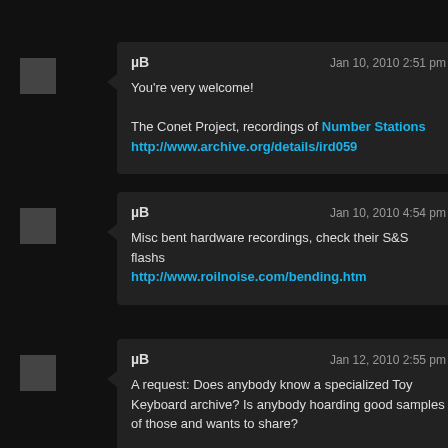µB — Jan 10, 2010 2:51 pm
You're very welcome!

The Conet Project, recordings of Number Stations
http://www.archive.org/details/ird059
µB — Jan 10, 2010 4:54 pm
Misc bent hardware recordings, check their S&S flashs
http://www.roilnoise.com/bending.htm
µB — Jan 12, 2010 2:55 pm
A request: Does anybody know a specialized Toy Keyboard archive? Is anybody hoarding good samples of those and wants to share?